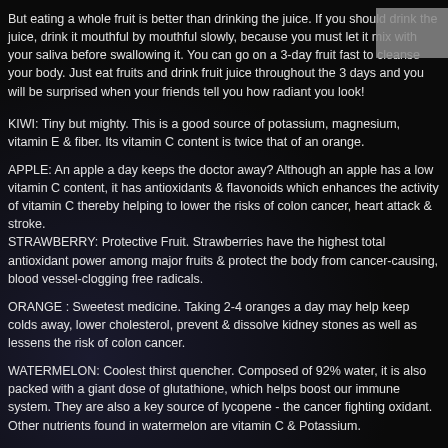But eating a whole fruit is better than drinking the juice. If you should drink the juice, drink it mouthful by mouthful slowly, because you must let it mix with your saliva before swallowing it. You can go on a 3-day fruit fast to cleanse your body. Just eat fruits and drink fruit juice throughout the 3 days and you will be surprised when your friends tell you how radiant you look!
KIWI: Tiny but mighty. This is a good source of potassium, magnesium, vitamin E & fiber. Its vitamin C content is twice that of an orange.
APPLE: An apple a day keeps the doctor away? Although an apple has a low vitamin C content, it has antioxidants & flavonoids which enhances the activity of vitamin C thereby helping to lower the risks of colon cancer, heart attack & stroke.
STRAWBERRY: Protective Fruit. Strawberries have the highest total antioxidant power among major fruits & protect the body from cancer-causing, blood vessel-clogging free radicals.
ORANGE : Sweetest medicine. Taking 2-4 oranges a day may help keep colds away, lower cholesterol, prevent & dissolve kidney stones as well as lessens the risk of colon cancer.
WATERMELON: Coolest thirst quencher. Composed of 92% water, it is also packed with a giant dose of glutathione, which helps boost our immune system. They are also a key source of lycopene - the cancer fighting oxidant. Other nutrients found in watermelon are vitamin C & Potassium.